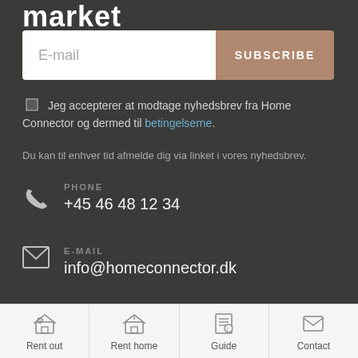market
E-mail
SUBSCRIBE
Jeg accepterer at modtage nyhedsbrev fra Home Connector og dermed til betingelserne.
Du kan til enhver tid afmelde dig via linket i vores nyhedsbrev.
PHONE +45 46 48 12 34
E-MAIL info@homeconnector.dk
Rent out  Rent home  Guide  Contact